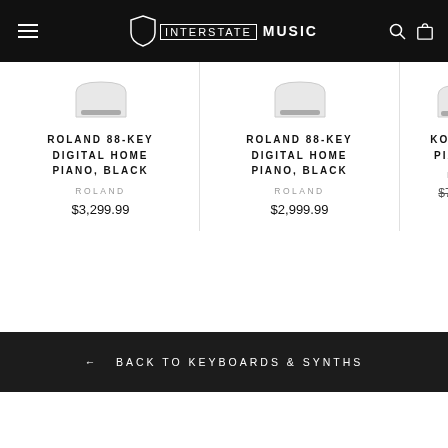INTERSTATE MUSIC
ROLAND 88-KEY DIGITAL HOME PIANO, BLACK
ROLAND
$3,299.99
ROLAND 88-KEY DIGITAL HOME PIANO, BLACK
ROLAND
$2,999.99
KORG B2 PIANO -
KOR
$720.00
Save
← BACK TO KEYBOARDS & SYNTHS